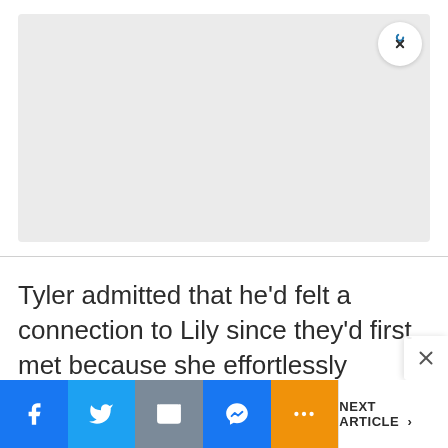[Figure (other): Advertisement placeholder box, light grey background with rounded corners and a close (X) button in the top right corner.]
Tyler admitted that he'd felt a connection to Lily since they'd first met because she effortlessly connected with people and put them at ease. Tyler noted that he'd never been able to trust others, but he felt he coul
[Figure (other): Social share bar at bottom with Facebook, Twitter, Email, Messenger, and More (...) buttons, plus a NEXT ARTICLE > button on the right.]